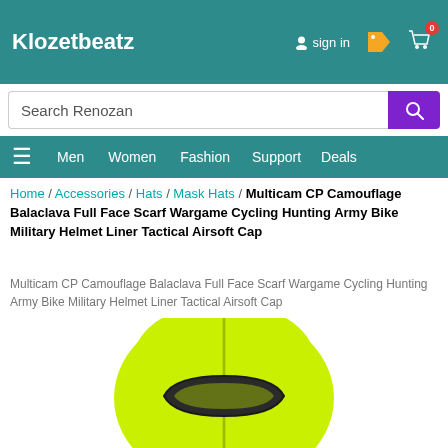Klozetbeatz
[Figure (screenshot): Search bar with 'Search Renozan' placeholder and purple search button]
Men  Women  Fashion  Support  Deals
Home / Accessories / Hats / Mask Hats / Multicam CP Camouflage Balaclava Full Face Scarf Wargame Cycling Hunting Army Bike Military Helmet Liner Tactical Airsoft Cap
Multicam CP Camouflage Balaclava Full Face Scarf Wargame Cycling Hunting Army Bike Military Helmet Liner Tactical Airsoft Cap
[Figure (photo): Bright yellow-green balaclava full face mask with a wide black oval eye opening, shown from the front on a white background]